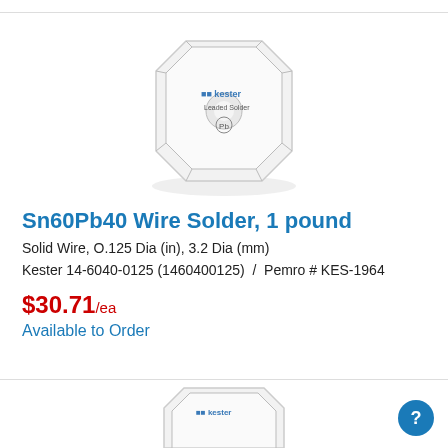[Figure (photo): Kester leaded solder spool, white octagonal container with Kester logo and 'Leaded Solder Pb' label]
Sn60Pb40 Wire Solder, 1 pound
Solid Wire, O.125 Dia (in), 3.2 Dia (mm)
Kester 14-6040-0125 (1460400125)  /  Pemro # KES-1964
$30.71/ea
Available to Order
[Figure (photo): Partial view of another Kester solder spool at the bottom of the page]